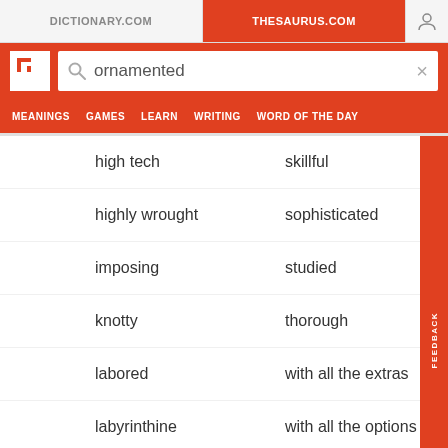DICTIONARY.COM | THESAURUS.COM
[Figure (screenshot): Thesaurus.com website header with search bar showing 'ornamented' and navigation menu]
high tech | skillful
highly wrought | sophisticated
imposing | studied
knotty | thorough
labored | with all the extras
labyrinthine | with all the options
luxurious | with bells and whistles
many-faceted